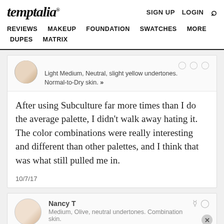temptalia® | SIGN UP  LOGIN  [search] | REVIEWS  MAKEUP  FOUNDATION  SWATCHES  MORE  DUPES  MATRIX
Light Medium, Neutral, slight yellow undertones. Normal-to-Dry skin. »
After using Subculture far more times than I do the average palette, I didn't walk away hating it. The color combinations were really interesting and different than other palettes, and I think that was what still pulled me in.
10/7/17
Nancy T
Medium, Olive, neutral undertones. Combination skin.